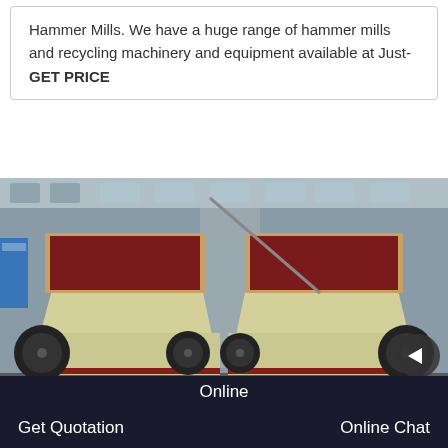Hammer Mills. We have a huge range of hammer mills and recycling machinery and equipment available at Just-
GET PRICE
[Figure (photo): Two large yellow and red hammer mill machines displayed on a factory floor inside an industrial warehouse. The machines have large open feed hoppers on top and are mounted on heavy-duty frames with pulleys/belts visible on the sides.]
Online
Get Quotation
Online Chat